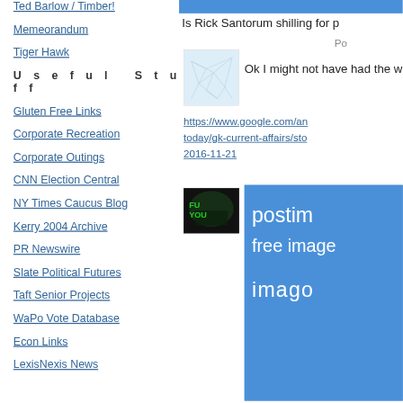Ted Barlow / Timber!
Memeorandum
Tiger Hawk
U s e f u l   S t u f f
Gluten Free Links
Corporate Recreation
Corporate Outings
CNN Election Central
NY Times Caucus Blog
Kerry 2004 Archive
PR Newswire
Slate Political Futures
Taft Senior Projects
WaPo Vote Database
Econ Links
LexisNexis News
Is Rick Santorum shilling for p
Po
[Figure (screenshot): Thumbnail of a network/web diagram with light blue lines on a white background, inside a bordered square]
Ok I might not have had the w
https://www.google.com/an today/gk-current-affairs/sto 2016-11-21
[Figure (screenshot): Dark thumbnail image showing a figure in green light, appears to say 'FU YOU']
[Figure (screenshot): Blue Postimage banner with text 'postim', 'free image', 'imago']